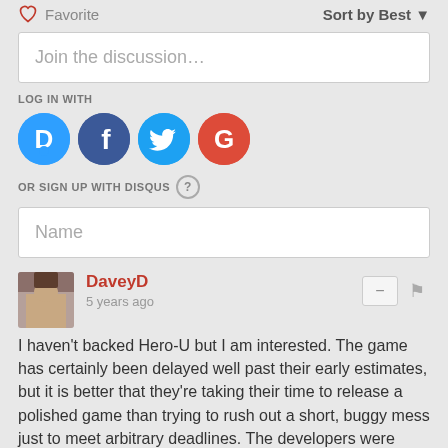Favorite
Sort by Best
Join the discussion...
LOG IN WITH
[Figure (infographic): Social login icons: Disqus (blue D), Facebook (dark blue f), Twitter (light blue bird), Google (red G)]
OR SIGN UP WITH DISQUS ?
Name
DaveyD
5 years ago
I haven't backed Hero-U but I am interested. The game has certainly been delayed well past their early estimates, but it is better that they're taking their time to release a polished game than trying to rush out a short, buggy mess just to meet arbitrary deadlines. The developers were clearly overly optimistic, but making games that look and play nice takes a lot of time. I feel like a lot of gamers don't really appreciate the incredible amount of work that goes into it.